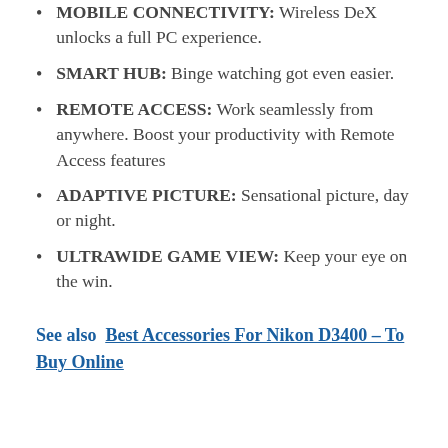MOBILE CONNECTIVITY: Wireless DeX unlocks a full PC experience.
SMART HUB: Binge watching got even easier.
REMOTE ACCESS: Work seamlessly from anywhere. Boost your productivity with Remote Access features
ADAPTIVE PICTURE: Sensational picture, day or night.
ULTRAWIDE GAME VIEW: Keep your eye on the win.
See also  Best Accessories For Nikon D3400 – To Buy Online